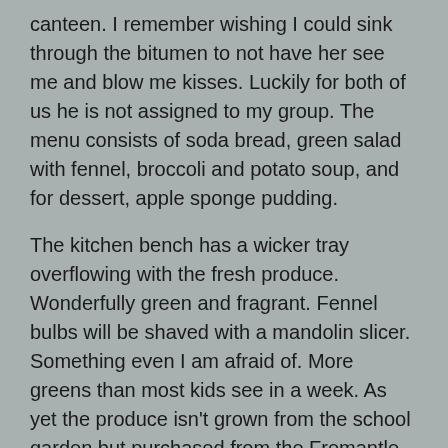canteen. I remember wishing I could sink through the bitumen to not have her see me and blow me kisses. Luckily for both of us he is not assigned to my group. The menu consists of soda bread, green salad with fennel, broccoli and potato soup, and for dessert, apple sponge pudding.
The kitchen bench has a wicker tray overflowing with the fresh produce. Wonderfully green and fragrant. Fennel bulbs will be shaved with a mandolin slicer. Something even I am afraid of. More greens than most kids see in a week. As yet the produce isn't grown from the school garden but purchased from the Fremantle Markets. Behind the kitchen, the elaborate garden beds constructed from limestone have been completed and a small section of the class will be assigned to work in it, while the others cook. Then at the end we will all come back together to eat.